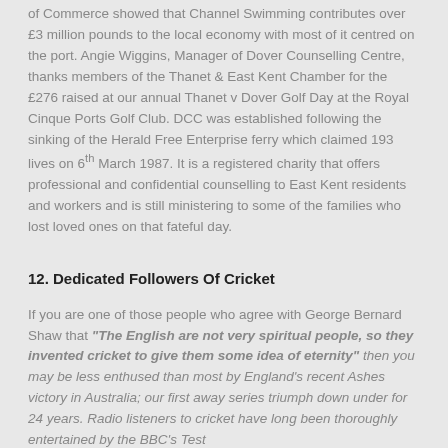of Commerce showed that Channel Swimming contributes over £3 million pounds to the local economy with most of it centred on the port. Angie Wiggins, Manager of Dover Counselling Centre, thanks members of the Thanet & East Kent Chamber for the £276 raised at our annual Thanet v Dover Golf Day at the Royal Cinque Ports Golf Club. DCC was established following the sinking of the Herald Free Enterprise ferry which claimed 193 lives on 6th March 1987. It is a registered charity that offers professional and confidential counselling to East Kent residents and workers and is still ministering to some of the families who lost loved ones on that fateful day.
12. Dedicated Followers Of Cricket
If you are one of those people who agree with George Bernard Shaw that "The English are not very spiritual people, so they invented cricket to give them some idea of eternity" then you may be less enthused than most by England's recent Ashes victory in Australia; our first away series triumph down under for 24 years. Radio listeners to cricket have long been thoroughly entertained by the BBC's Test